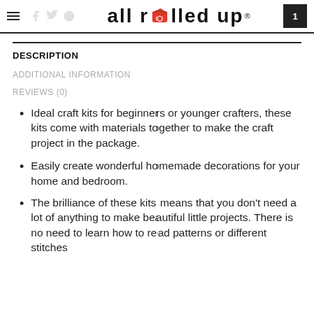ALL ROLLED UP
DESCRIPTION
ADDITIONAL INFORMATION
REVIEWS (0)
Ideal craft kits for beginners or younger crafters, these kits come with materials together to make the craft project in the package.
Easily create wonderful homemade decorations for your home and bedroom.
The brilliance of these kits means that you don't need a lot of anything to make beautiful little projects. There is no need to learn how to read patterns or different stitches